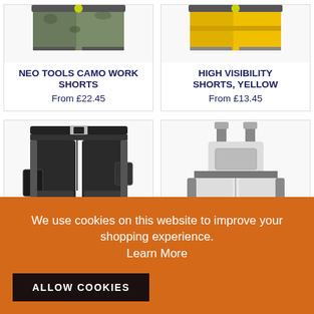[Figure (photo): NEO Tools Camo Work Shorts product image (partially visible at top)]
NEO TOOLS CAMO WORK SHORTS
From £22.45
[Figure (photo): High Visibility Shorts Yellow product image (partially visible at top)]
HIGH VISIBILITY SHORTS, YELLOW
From £13.45
[Figure (photo): Dark work trousers/shorts product image]
[Figure (photo): White and grey bib overall product image]
We use cookies on this website to improve your shopping experience.
Learn More
ALLOW COOKIES